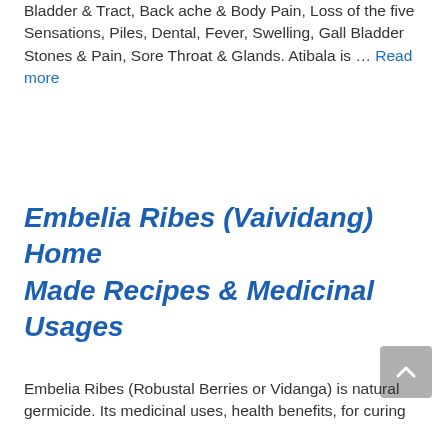Bladder & Tract, Back ache & Body Pain, Loss of the five Sensations, Piles, Dental, Fever, Swelling, Gall Bladder Stones & Pain, Sore Throat & Glands. Atibala is … Read more
Embelia Ribes (Vaividang) Home Made Recipes & Medicinal Usages
Embelia Ribes (Robustal Berries or Vidanga) is natural germicide. Its medicinal uses, health benefits, for curing